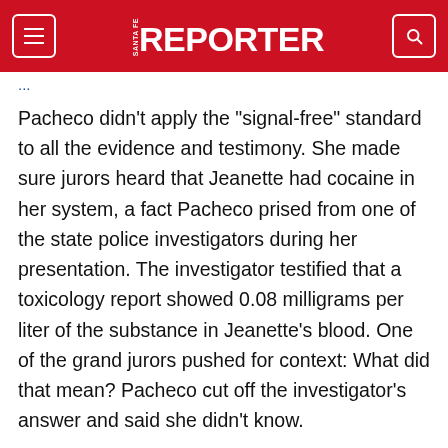SANTA FE REPORTER
Pacheco didn't apply the "signal-free" standard to all the evidence and testimony. She made sure jurors heard that Jeanette had cocaine in her system, a fact Pacheco prised from one of the state police investigators during her presentation. The investigator testified that a toxicology report showed 0.08 milligrams per liter of the substance in Jeanette's blood. One of the grand jurors pushed for context: What did that mean? Pacheco cut off the investigator's answer and said she didn't know.